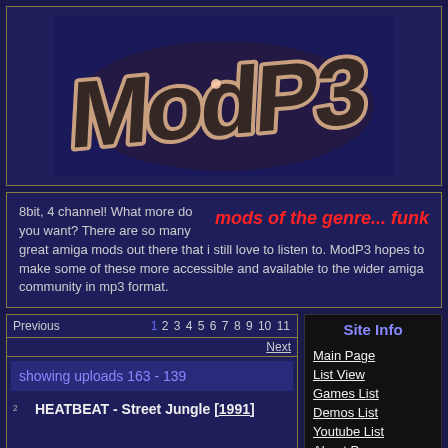[Figure (logo): ModP3 logo - stylized 3D bubbly text on dark blue background]
8bit, 4 channel! What more do you want? There are so many great amiga mods out there that i still love to listen to. ModP3 hopes to make some of these more accessible and available to the wider amiga community in mp3 format.
mods of the genre... funk
Previous  1 2 3 4 5 6 7 8 9 10 11
Next
showing uploads 163 - 139
2  HEATBEAT - Street Jungle [1991]
Site Info
Main Page
List View
Games List
Demos List
Youtube List
About Page